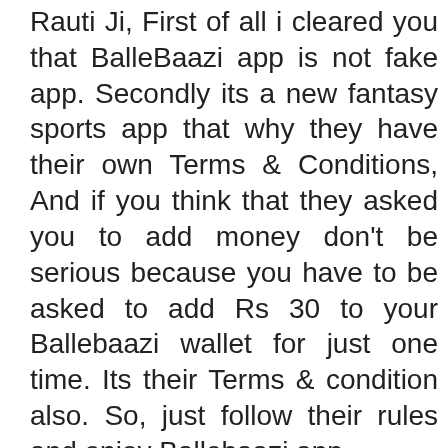Rauti Ji, First of all i cleared you that BalleBaazi app is not fake app. Secondly its a new fantasy sports app that why they have their own Terms & Conditions, And if you think that they asked you to add money don't be serious because you have to be asked to add Rs 30 to your Ballebaazi wallet for just one time. Its their Terms & condition also. So, just follow their rules and enjoy Ballebaazi app.